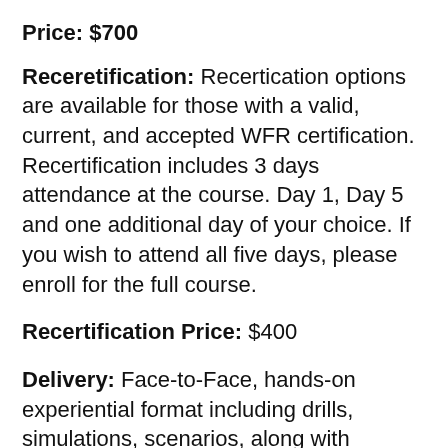Price: $700
Receretification: Recertication options are available for those with a valid, current, and accepted WFR certification. Recertification includes 3 days attendance at the course. Day 1, Day 5 and one additional day of your choice. If you wish to attend all five days, please enroll for the full course.
Recertification Price: $400
Delivery: Face-to-Face, hands-on experiential format including drills, simulations, scenarios, along with lecture, discussion, and case studies. Wilderness and Rescue Medicine textbook provided.
Language: English